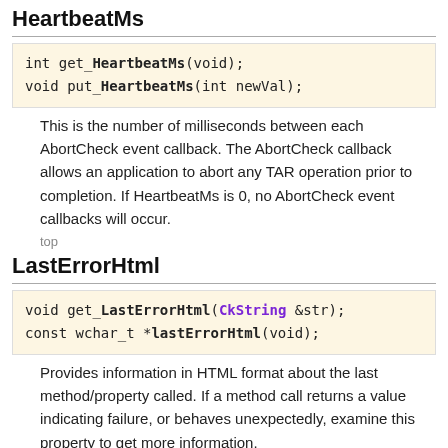HeartbeatMs
int get_HeartbeatMs(void);
void put_HeartbeatMs(int newVal);
This is the number of milliseconds between each AbortCheck event callback. The AbortCheck callback allows an application to abort any TAR operation prior to completion. If HeartbeatMs is 0, no AbortCheck event callbacks will occur.
top
LastErrorHtml
void get_LastErrorHtml(CkString &str);
const wchar_t *lastErrorHtml(void);
Provides information in HTML format about the last method/property called. If a method call returns a value indicating failure, or behaves unexpectedly, examine this property to get more information.
top